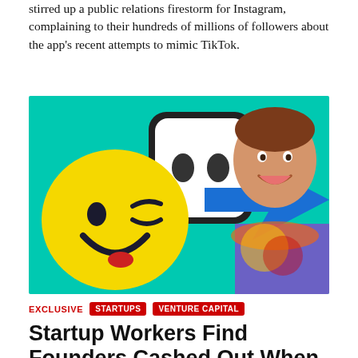stirred up a public relations firestorm for Instagram, complaining to their hundreds of millions of followers about the app's recent attempts to mimic TikTok.
[Figure (photo): A smiling young man in a tie-dye shirt against a teal background, holding a yellow smiley face emoji character and a blue arrow, with a dark rounded-rectangle chat bubble icon behind him.]
EXCLUSIVE  STARTUPS  VENTURE CAPITAL
Startup Workers Find Founders Cashed Out When They Couldn't